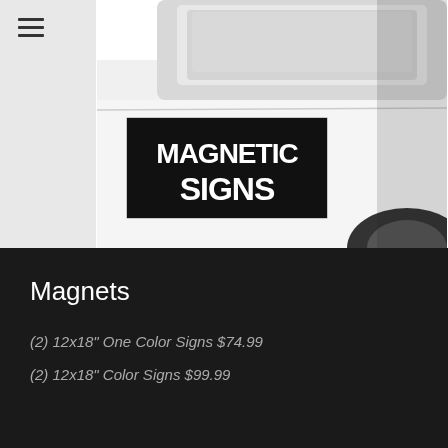[Figure (photo): White car/truck door with a black and white magnetic sign reading 'MAGNETIC SIGNS' attached to it]
Magnets
(2) 12x18" One Color Signs $74.99
(2) 12x18" Color Signs $99.99